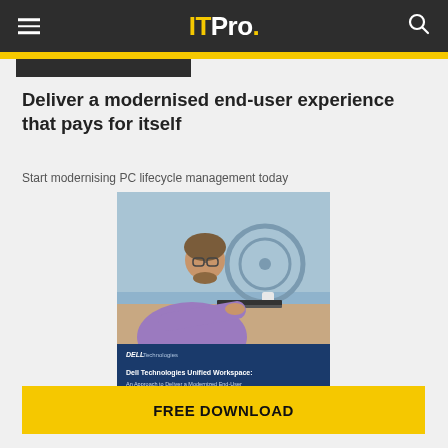ITPro.
Deliver a modernised end-user experience that pays for itself
Start modernising PC lifecycle management today
[Figure (illustration): Dell Technologies Unified Workspace whitepaper cover showing a man working on a laptop at a desk, with blue book cover below showing the title 'Dell Technologies Unified Workspace: An Approach to Deliver a Modernized End-User Experience That Pays for Itself']
FREE DOWNLOAD